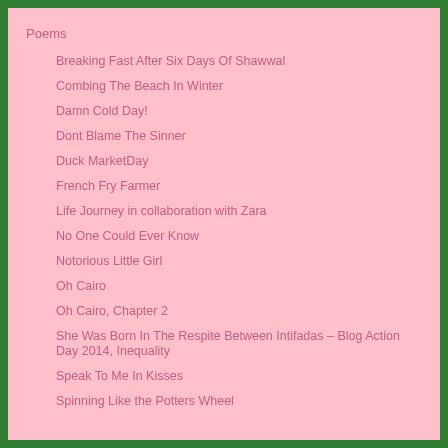Poems
Breaking Fast After Six Days Of Shawwal
Combing The Beach In Winter
Damn Cold Day!
Dont Blame The Sinner
Duck MarketDay
French Fry Farmer
Life Journey in collaboration with Zara
No One Could Ever Know
Notorious Little Girl
Oh Cairo
Oh Cairo, Chapter 2
She Was Born In The Respite Between Intifadas – Blog Action Day 2014, Inequality
Speak To Me In Kisses
Spinning Like the Potters Wheel